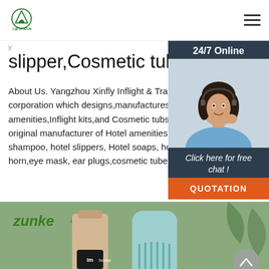SANZUN logo and navigation hamburger menu
slipper,Cosmetic tube ...
About Us. Yangzhou Xinfly Inflight & Travel Supply corporation which designs,manufactures and exports amenities,Inflight kits,and Cosmetic tubs packages. original manufacturer of Hotel amenities, Travel shampoo, hotel slippers, Hotel soaps, hotel toothhorn,eye mask, ear plugs,cosmetic tube packaging ...
[Figure (photo): Customer service agent woman with headset, 24/7 Online chat panel with dark blue background. Includes 'Click here for free chat!' text and orange QUOTATION button.]
[Figure (photo): Bottom section showing Zunko brand products on sage green background: a beige cosmetic tube with 'Imhome' branding and a mint green comb, along with tropical plant leaves.]